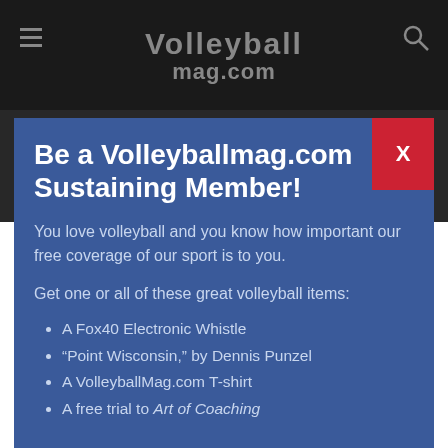Volleyballmag.com
[Figure (logo): Volleyballmag.com secondary logo with swoosh icon]
Be a Volleyballmag.com Sustaining Member!
You love volleyball and you know how important our free coverage of our sport is to you.
Get one or all of these great volleyball items:
A Fox40 Electronic Whistle
“Point Wisconsin,” by Dennis Punzel
A VolleyballMag.com T-shirt
A free trial to Art of Coaching